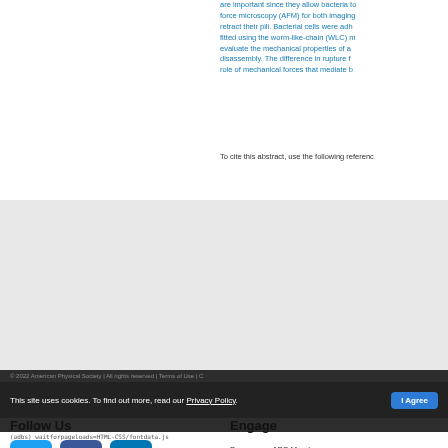are important since they allow bacteria to force microscopy (AFM) for both imaging retract their pili. Bacterial cells were adh fitted using the worm-like-chain (WLC) m evaluate the mechanical properties of a disassembly. The difference in rupture f role of mechanical forces that mediate b
To cite this abstract, use the following referenc
Follow Us
[Figure (infographic): Social media icons: Twitter (blue), Facebook (dark blue), LinkedIn (blue), RSS (orange), Google+ (red), YouTube (red)]
Engage
Become an APS Member
Submit a Meeting Abstract
Submit a Manuscript
Find a Journal Article
Donate to APS
© 2022 American Physical Society | All rights reserved | Terms of Use | Headquarters    1 Physics Ellipse, College Park, MD 20740-3844   (301) Brookhaven    1 Research Road, Ridge, NY 11961-2701   (631) 591 Office of Public Affairs    529 14th St NW, Suite 1050, Washington, D.C
This site uses cookies. To find out more, read our Privacy Policy.